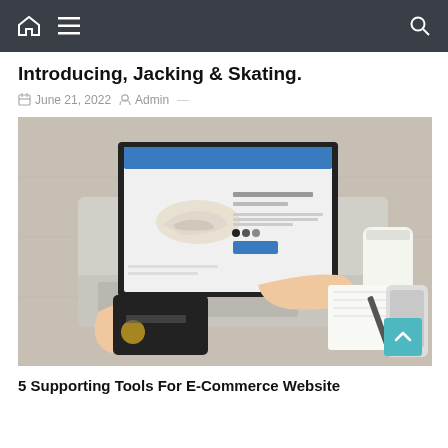Navigation bar with home, menu, and search icons
Introducing, Jacking & Skating.
June 21, 2022  Admin —
[Figure (photo): Person using a laptop to browse an e-commerce shoe product page, holding a credit card, with a notebook, pen, and phone on a wooden desk beside a coffee cup.]
5 Supporting Tools For E-Commerce Website